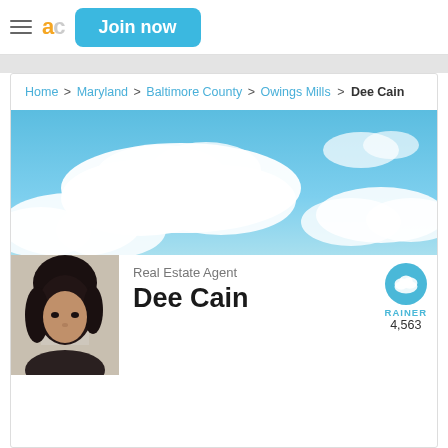Join now
Home > Maryland > Baltimore County > Owings Mills > Dee Cain
[Figure (photo): Blue sky with clouds, wide banner background image]
[Figure (photo): Profile photo of Dee Cain, a woman with dark hair]
Real Estate Agent
RAINER
4,563
Dee Cain